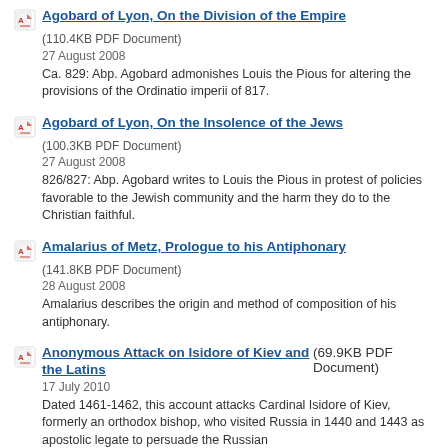Agobard of Lyon, On the Division of the Empire (110.4KB PDF Document)
27 August 2008
Ca. 829: Abp. Agobard admonishes Louis the Pious for altering the provisions of the Ordinatio imperii of 817.
Agobard of Lyon, On the Insolence of the Jews (100.3KB PDF Document)
27 August 2008
826/827: Abp. Agobard writes to Louis the Pious in protest of policies favorable to the Jewish community and the harm they do to the Christian faithful.
Amalarius of Metz, Prologue to his Antiphonary (141.8KB PDF Document)
28 August 2008
Amalarius describes the origin and method of composition of his antiphonary.
Anonymous Attack on Isidore of Kiev and the Latins (69.9KB PDF Document)
17 July 2010
Dated 1461-1462, this account attacks Cardinal Isidore of Kiev, formerly an orthodox bishop, who visited Russia in 1440 and 1443 as apostolic legate to persuade the Russian